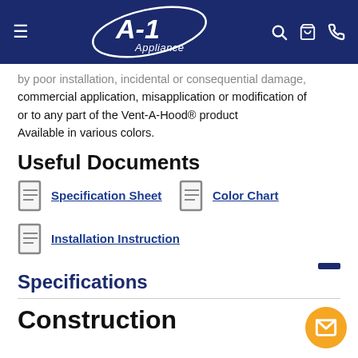A-1 Appliance
by poor installation, incidental or consequential damage, commercial application, misapplication or modification of or to any part of the Vent-A-Hood® product Available in various colors.
Useful Documents
Specification Sheet
Color Chart
Installation Instruction
Specifications
Construction